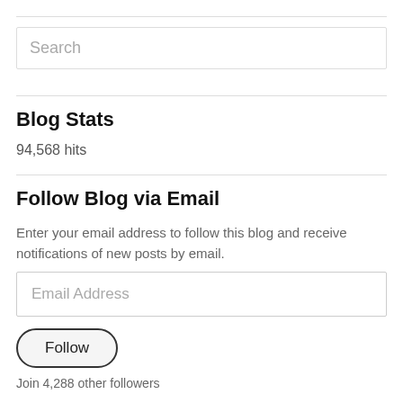Search
Blog Stats
94,568 hits
Follow Blog via Email
Enter your email address to follow this blog and receive notifications of new posts by email.
Email Address
Follow
Join 4,288 other followers